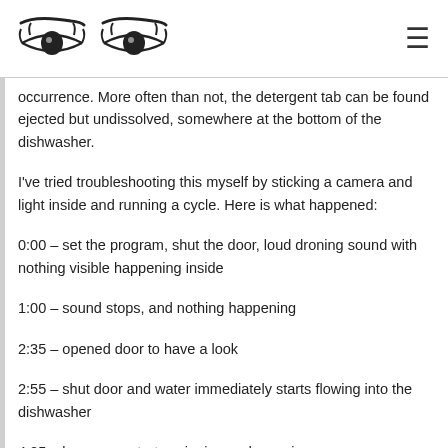[logo: two eye illustrations] [hamburger menu icon]
occurrence. More often than not, the detergent tab can be found ejected but undissolved, somewhere at the bottom of the dishwasher.
I've tried troubleshooting this myself by sticking a camera and light inside and running a cycle. Here is what happened:
0:00 – set the program, shut the door, loud droning sound with nothing visible happening inside
1:00 – sound stops, and nothing happening
2:35 – opened door to have a look
2:55 – shut door and water immediately starts flowing into the dishwasher
4:25 – lower arm starts spinning and spraying
7:30 – upper arm starts spraying but not spinning, top mini arm